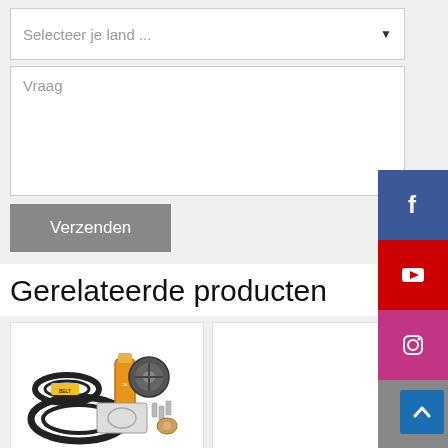Selecteer je land ...
Vraag
Verzenden
Gerelateerde producten
[Figure (photo): Auto parts kit including drive belts, a bottle of fluid, water pump, gaskets, and small hardware components arranged on white background]
[Figure (photo): Empty product card placeholder]